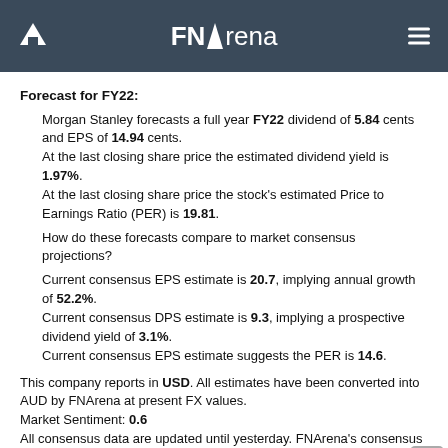FNArena
Forecast for FY22:
Morgan Stanley forecasts a full year FY22 dividend of 5.84 cents and EPS of 14.94 cents. At the last closing share price the estimated dividend yield is 1.97%. At the last closing share price the stock's estimated Price to Earnings Ratio (PER) is 19.81.
How do these forecasts compare to market consensus projections?
Current consensus EPS estimate is 20.7, implying annual growth of 52.2%. Current consensus DPS estimate is 9.3, implying a prospective dividend yield of 3.1%. Current consensus EPS estimate suggests the PER is 14.6.
This company reports in USD. All estimates have been converted into AUD by FNArena at present FX values. Market Sentiment: 0.6 All consensus data are updated until yesterday. FNArena's consensus calculations require a minimum of three sources